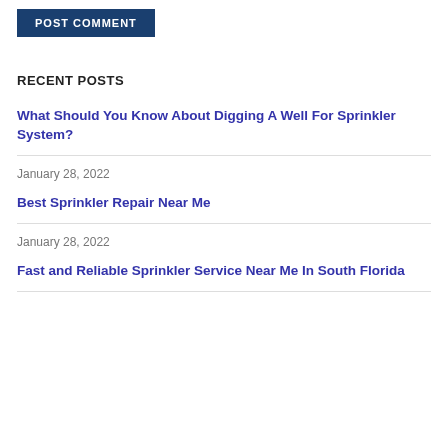[Figure (other): Blue POST COMMENT button]
RECENT POSTS
What Should You Know About Digging A Well For Sprinkler System?
January 28, 2022
Best Sprinkler Repair Near Me
January 28, 2022
Fast and Reliable Sprinkler Service Near Me In South Florida